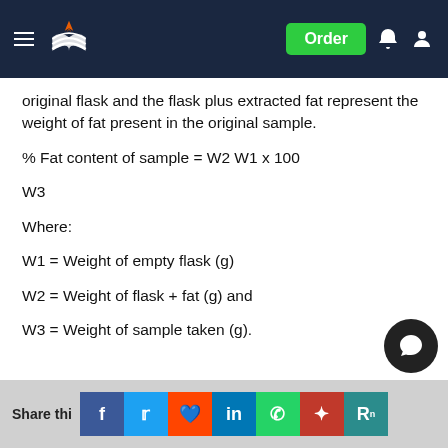Order
original flask and the flask plus extracted fat represent the weight of fat present in the original sample.
Where:
W1 = Weight of empty flask (g)
W2 = Weight of flask + fat (g) and
W3 = Weight of sample taken (g).
Share this